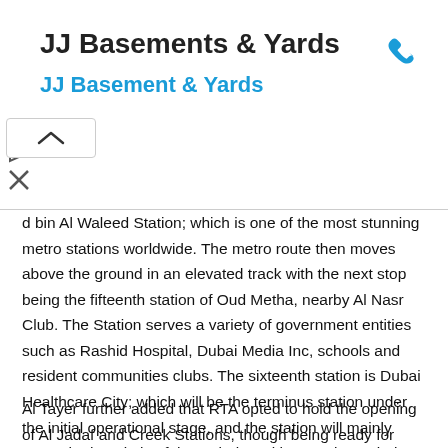JJ Basements & Yards
JJ Basement & Yards
[Figure (other): Phone icon in blue]
[Figure (other): Ad controls: play and close buttons]
[Figure (other): Collapse arrow chevron button]
d bin Al Waleed Station; which is one of the most stunning metro stations worldwide. The metro route then moves above the ground in an elevated track with the next stop being the fifteenth station of Oud Metha, nearby Al Nasr Club. The Station serves a variety of government entities such as Rashid Hospital, Dubai Media Inc, schools and resident communities clubs. The sixteenth station is Dubai Healthcare City; which will be the terminus station under the initial operational stage, and the station will mainly serve the hospitals of the Dubai Healthcare City, Dubai Electricity and Water Authority, Wafi Center and hotels in the vicinity.
Al Tayer further added that RTA opted to hold the opening of Al Jadaf and Creek Stations, though being ready for